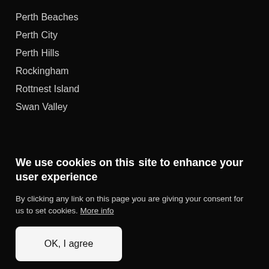Perth Beaches
Perth City
Perth Hills
Rockingham
Rottnest Island
Swan Valley
We use cookies on this site to enhance your user experience
By clicking any link on this page you are giving your consent for us to set cookies. More info
OK, I agree